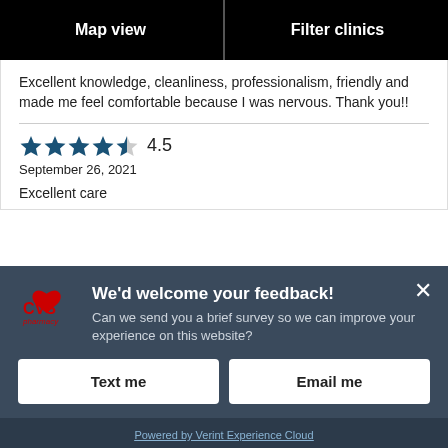[Figure (screenshot): Two black navigation buttons: 'Map view' on the left and 'Filter clinics' on the right]
Excellent knowledge, cleanliness, professionalism, friendly and made me feel comfortable because I was nervous. Thank you!!
[Figure (infographic): 4.5 star rating with dark blue filled stars, showing 4.5 out of 5 stars]
September 26, 2021
Excellent care
[Figure (screenshot): CVS Pharmacy feedback modal popup with dark blue/slate background. Shows CVS Pharmacy logo, title 'We'd welcome your feedback!', subtitle 'Can we send you a brief survey so we can improve your experience on this website?', and two white buttons: 'Text me' and 'Email me'. Bottom shows 'Powered by Verint Experience Cloud' link.]